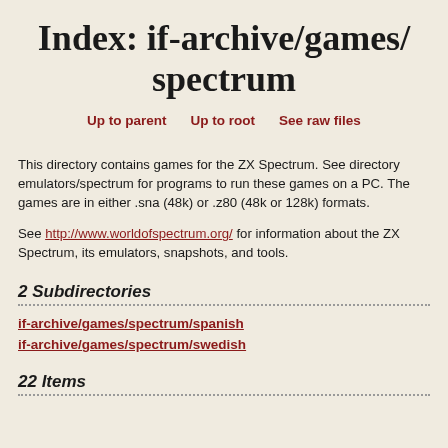Index: if-archive/games/spectrum
Up to parent   Up to root   See raw files
This directory contains games for the ZX Spectrum. See directory emulators/spectrum for programs to run these games on a PC. The games are in either .sna (48k) or .z80 (48k or 128k) formats.
See http://www.worldofspectrum.org/ for information about the ZX Spectrum, its emulators, snapshots, and tools.
2 Subdirectories
if-archive/games/spectrum/spanish
if-archive/games/spectrum/swedish
22 Items